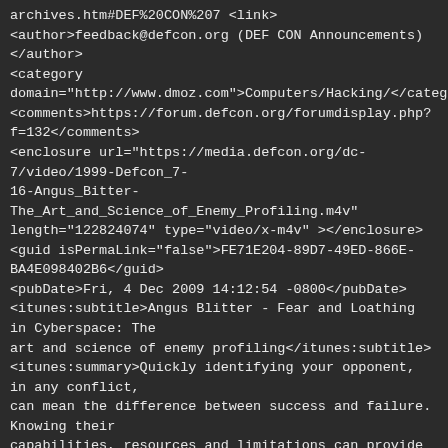archives.htm#DEF%20CON%207 <link>
<author>feedback@defcon.org (DEF CON Announcements)</author>
<category domain="http://www.dmoz.com">Computers/Hacking/</category>
<comments>https://forum.defcon.org/forumdisplay.php?f=132</comments>
<enclosure url="https://media.defcon.org/dc-7/video/1999-Defcon_7-16-Angus_Bitter-The_Art_and_Science_of_Enemy_Profiling.m4v" length="122824074" type="video/x-m4v" ></enclosure>
<guid isPermaLink="false">FE71E204-89D7-49ED-866E-BA4E098402B6</guid>
<pubDate>Fri, 4 Dec 2009 14:12:54 -0800</pubDate>
<itunes:subtitle>Angus Blitter - Fear and Loathing in Cyberspace: The art and science of enemy profiling</itunes:subtitle>
<itunes:summary>Quickly identifying your opponent, in any conflict, can mean the difference between success and failure. Knowing their capabilities, resources and limitations can provide the tactical advantage. The lack of this type of decision support is a serious deficiency in most information warrior's arsenals. Relying on single source intelligence is pure folly. Charlatans and carpetbaggers are salivating at the millions in government and corporate dollars earmarked for such a competitive advantage. Our discussion will provide a working definition for &quot;profiling&quot;, how it is used and why it effects everyone!

Angus Blitter is the founder and Grand Poopa of HSK.

DEF CON 7.0 was held July 9-11th, 1999, in Las Vegas Nevada USA Past speeches and talks from DEF CON hacking conferences in an iTunes friendly m4v format. The DEFCON series of hacking conferences were started in 1993 to focus on both the technical and